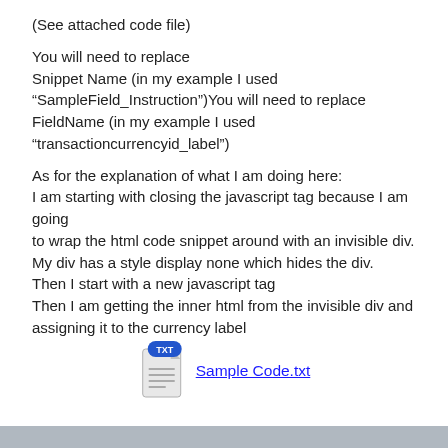(See attached code file)
You will need to replace Snippet Name (in my example I used “SampleField_Instruction”)You will need to replace FieldName (in my example I used “transactioncurrencyid_label”)
As for the explanation of what I am doing here:
I am starting with closing the javascript tag because I am going to wrap the html code snippet around with an invisible div.
My div has a style display none which hides the div.
Then I start with a new javascript tag
Then I am getting the inner html from the invisible div and assigning it to the currency label
[Figure (other): Text file icon with TXT label in blue, representing an attached file named Sample Code.txt]
Sample Code.txt